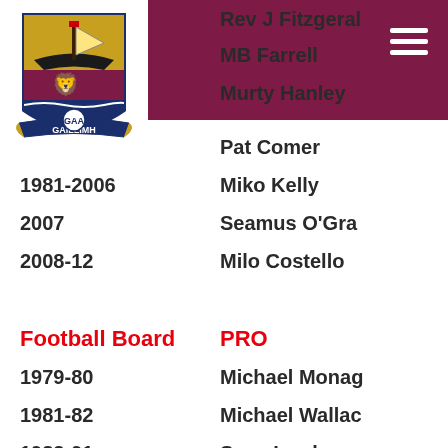[Figure (logo): Galway GAA Gaillimh crest/logo with boat, lion, GAA text on shield]
1979-80 | Rev J Fitzgerald
| MB Farrell
| Murty Hanley
1979-80 | Pat Comer
1981-2006 | Miko Kelly
2007 | Seamus O'Grady
2008-12 | Milo Costello
Football Board
PRO
1979-80 | Michael Monaghan
1981-82 | Michael Wallace
1983-91 | Sean Lawless
1992-2005 | Jack Mahon